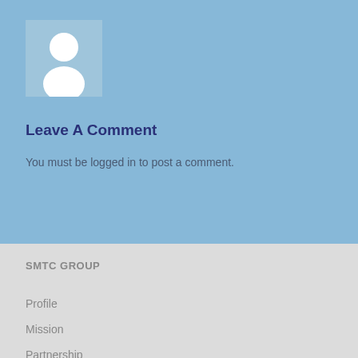[Figure (illustration): Default user avatar placeholder image with a white silhouette of a person on a light blue background]
Leave A Comment
You must be logged in to post a comment.
SMTC GROUP
Profile
Mission
Partnership